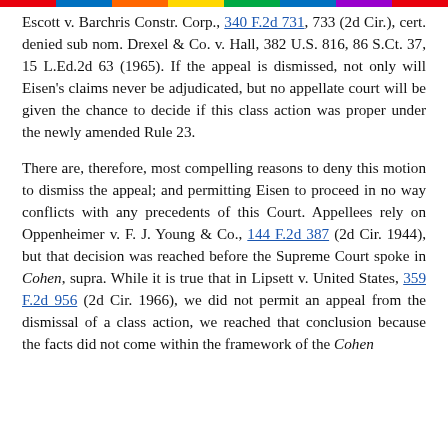Escott v. Barchris Constr. Corp., 340 F.2d 731, 733 (2d Cir.), cert. denied sub nom. Drexel & Co. v. Hall, 382 U.S. 816, 86 S.Ct. 37, 15 L.Ed.2d 63 (1965). If the appeal is dismissed, not only will Eisen's claims never be adjudicated, but no appellate court will be given the chance to decide if this class action was proper under the newly amended Rule 23.
There are, therefore, most compelling reasons to deny this motion to dismiss the appeal; and permitting Eisen to proceed in no way conflicts with any precedents of this Court. Appellees rely on Oppenheimer v. F. J. Young & Co., 144 F.2d 387 (2d Cir. 1944), but that decision was reached before the Supreme Court spoke in Cohen, supra. While it is true that in Lipsett v. United States, 359 F.2d 956 (2d Cir. 1966), we did not permit an appeal from the dismissal of a class action, we reached that conclusion because the facts did not come within the framework of the Cohen